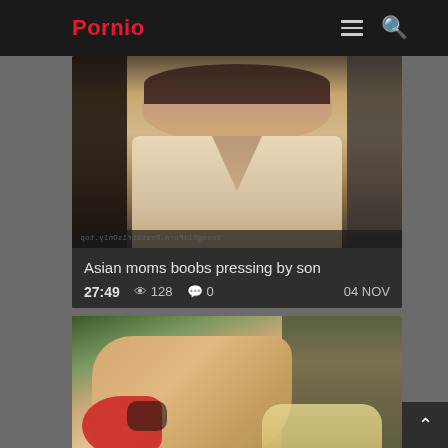Pornio
[Figure (screenshot): Video thumbnail showing a woman in a cream top with short dark hair, smiling, with watermark text mirrored at bottom left reading YoungOldPorn.BestGirlsOnly.top]
Asian moms boobs pressing by son
27:49  128  0  04 NOV
[Figure (screenshot): Video thumbnail showing legs and a person with tattoos on a stone/brick textured background with colorful clothing]